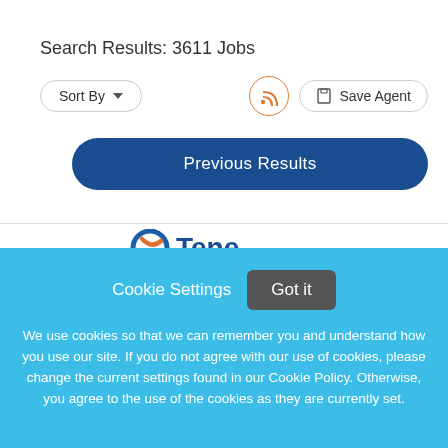Search Results: 3611 Jobs
Sort By ▼
Save Agent
Previous Results
[Figure (logo): Tenet logo (partial, cut off by cookie overlay)]
Cookie Settings
Got it
We use cookies so that we can remember you and understand how you use our site. If you do not agree with our use of cookies, please change the current settings found in our Cookie Policy. Otherwise, you agree to the use of the cookies as they are currently set.